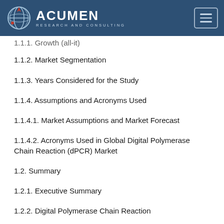Acumen Research and Consulting
1.1.1. Growth (all-it)
1.1.2. Market Segmentation
1.1.3. Years Considered for the Study
1.1.4. Assumptions and Acronyms Used
1.1.4.1. Market Assumptions and Market Forecast
1.1.4.2. Acronyms Used in Global Digital Polymerase Chain Reaction (dPCR) Market
1.2. Summary
1.2.1. Executive Summary
1.2.2. Digital Polymerase Chain Reaction